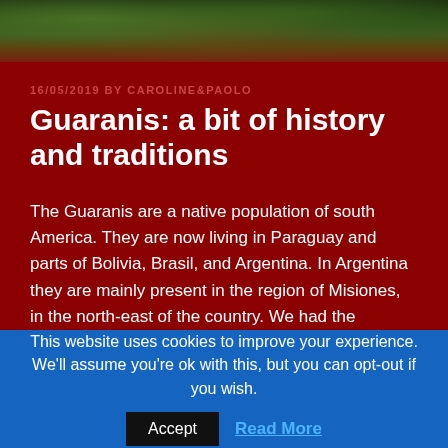[Figure (photo): Forest/jungle photo header showing dense green foliage and trees from above, darkening at the bottom]
16/05/2019 BY CAROLINE&PAOLO
Guaranis: a bit of history and traditions
The Guaranis are a native population of south America. They are now living in Paraguay and parts of Bolivia, Brasil, and Argentina. In Argentina they are mainly present in the region of Misiones, in the north-east of the country. We had the opportunity to stay in this region for a few days and learn more about their history. You can
This website uses cookies to improve your experience. We'll assume you're ok with this, but you can opt-out if you wish.
Accept  Read More